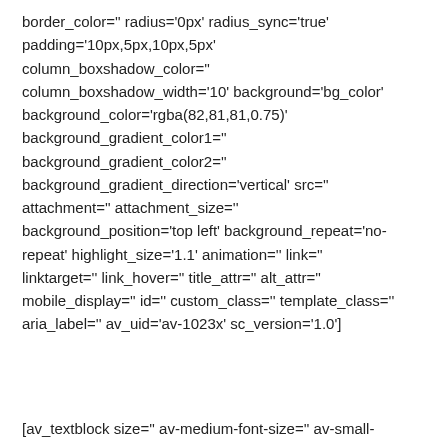border_color='' radius='0px' radius_sync='true' padding='10px,5px,10px,5px' column_boxshadow_color='' column_boxshadow_width='10' background='bg_color' background_color='rgba(82,81,81,0.75)' background_gradient_color1='' background_gradient_color2='' background_gradient_direction='vertical' src='' attachment='' attachment_size='' background_position='top left' background_repeat='no-repeat' highlight_size='1.1' animation='' link='' linktarget='' link_hover='' title_attr='' alt_attr='' mobile_display='' id='' custom_class='' template_class='' aria_label='' av_uid='av-1023x' sc_version='1.0']
[av_textblock size='' av-medium-font-size='' av-small-